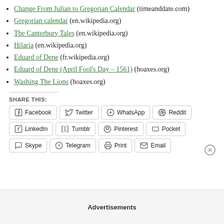Change From Julian to Gregorian Calendar (timeanddate.com)
Gregorian calendar (en.wikipedia.org)
The Canterbury Tales (en.wikipedia.org)
Hilaria (en.wikipedia.org)
Eduard of Dene (fr.wikipedia.org)
Eduard of Dene (April Fool's Day – 1561) (hoaxes.org)
Washing The Lions (hoaxes.org)
SHARE THIS:
Facebook  Twitter  WhatsApp  Reddit  LinkedIn  Tumblr  Pinterest  Pocket  Skype  Telegram  Print  Email
Advertisements